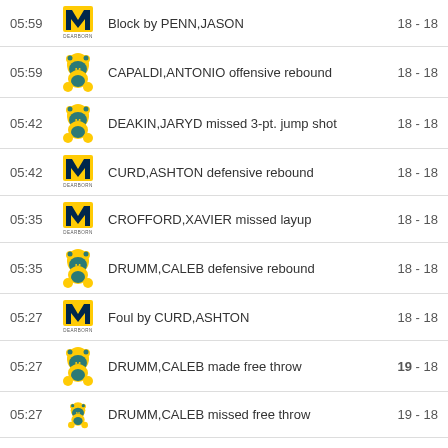| Time | Team | Play | Score |
| --- | --- | --- | --- |
| 05:59 | Michigan Dearborn (M) | Block by PENN,JASON | 18 - 18 |
| 05:59 | Mascot team | CAPALDI,ANTONIO offensive rebound | 18 - 18 |
| 05:42 | Mascot team | DEAKIN,JARYD missed 3-pt. jump shot | 18 - 18 |
| 05:42 | Michigan Dearborn (M) | CURD,ASHTON defensive rebound | 18 - 18 |
| 05:35 | Michigan Dearborn (M) | CROFFORD,XAVIER missed layup | 18 - 18 |
| 05:35 | Mascot team | DRUMM,CALEB defensive rebound | 18 - 18 |
| 05:27 | Michigan Dearborn (M) | Foul by CURD,ASHTON | 18 - 18 |
| 05:27 | Mascot team | DRUMM,CALEB made free throw | 19 - 18 |
| 05:27 | Mascot team | DRUMM,CALEB missed free throw | 19 - 18 |